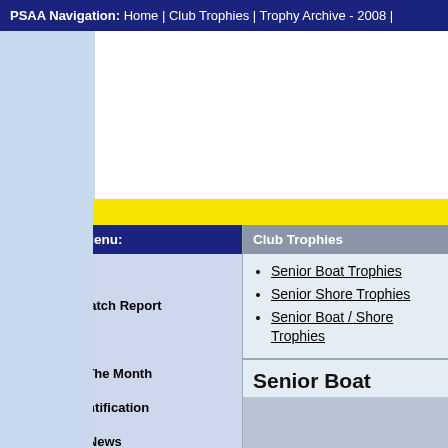PSAA Navigation: Home | Club Trophies | Trophy Archive - 2008 |
[Figure (other): Advertisement / banner area (white blank space)]
Site News:
Navigation Menu:
Home
Latest Catch Report
Leagues
Fish Of The Month
Fish Identification
Fishing News
Competition Results
Club Trophies
Senior Boat Trophies
Senior Shore Trophies
Senior Boat / Shore Trophies
Senior Boat